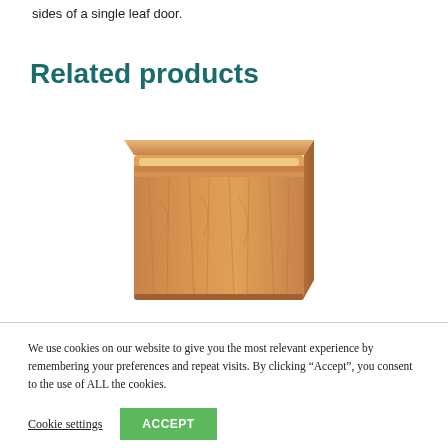sides of a single leaf door.
Related products
[Figure (photo): A wooden architrave or skirting board moulding piece with decorative profile, shown in natural oak finish with visible wood grain.]
We use cookies on our website to give you the most relevant experience by remembering your preferences and repeat visits. By clicking “Accept”, you consent to the use of ALL the cookies.
Cookie settings  ACCEPT